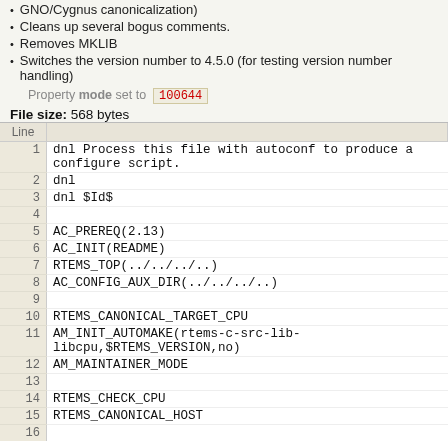GNO/Cygnus canonicalization)
Cleans up several bogus comments.
Removes MKLIB
Switches the version number to 4.5.0 (for testing version number handling)
Property mode set to 100644
File size: 568 bytes
| Line |  |
| --- | --- |
| 1 | dnl Process this file with autoconf to produce a configure script. |
| 2 | dnl |
| 3 | dnl $Id$ |
| 4 |  |
| 5 | AC_PREREQ(2.13) |
| 6 | AC_INIT(README) |
| 7 | RTEMS_TOP(../../../..) |
| 8 | AC_CONFIG_AUX_DIR(../../../..) |
| 9 |  |
| 10 | RTEMS_CANONICAL_TARGET_CPU |
| 11 | AM_INIT_AUTOMAKE(rtems-c-src-lib-libcpu,$RTEMS_VERSION,no) |
| 12 | AM_MAINTAINER_MODE |
| 13 |  |
| 14 | RTEMS_CHECK_CPU |
| 15 | RTEMS_CANONICAL_HOST |
| 16 |  |
| 17 | # find all the CPU dependent library Makefiles |
| 18 | if test -f $srcdir/$RTEMS_CPU/configure.in; then |
| 19 |   RTEMS_CPU_SUBDIR="$RTEMS_CPU" |
| 20 | fi |
| 21 | AC_SUBST(RTEMS_CPU_SUBDIR) |
| 22 |  |
| 23 | AC_CONFIG_SUBDIRS($RTEMS_CPU_SUBDIR) |
| 24 |  |